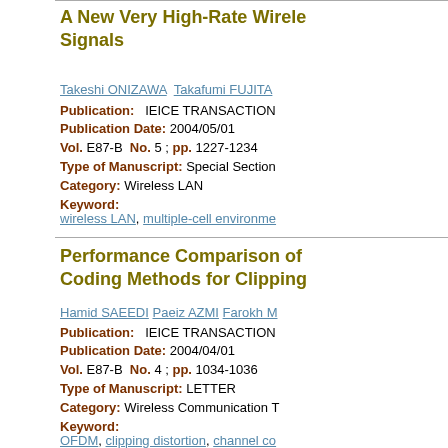A New Very High-Rate Wireless Signals
Takeshi ONIZAWA  Takafumi FUJITA
Publication:   IEICE TRANSACTION
Publication Date: 2004/05/01
Vol. E87-B  No. 5 ; pp. 1227-1234
Type of Manuscript: Special Sectio
Category: Wireless LAN
Keyword:
wireless LAN, multiple-cell environme
Performance Comparison of Coding Methods for Clipping
Hamid SAEEDI  Paeiz AZMI  Farokh M
Publication:   IEICE TRANSACTION
Publication Date: 2004/04/01
Vol. E87-B  No. 4 ; pp. 1034-1036
Type of Manuscript: LETTER
Category: Wireless Communication T
Keyword:
OFDM, clipping distortion, channel co